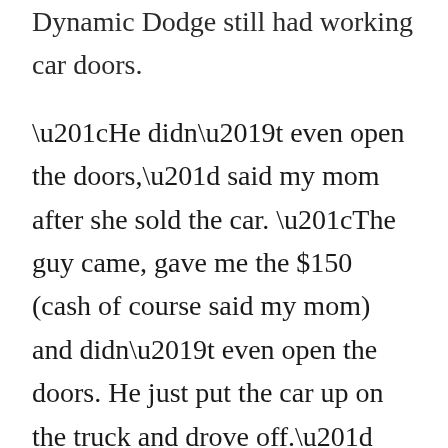Dynamic Dodge still had working car doors.
“He didn’t even open the doors,” said my mom after she sold the car. “The guy came, gave me the $150 (cash of course said my mom) and didn’t even open the doors. He just put the car up on the truck and drove off.”
Good-bye to the Dynamic Dodge. I called Hertz to rent a car for my visit. It will be a major change as I step on the accelerator and know that my mom and I will be able to do our daily ‘Florida visit’ rituals without the potential of having to arrange a tow for the Dynamic Dodge. Yes, I have so many memories of stalling out in the parking lot